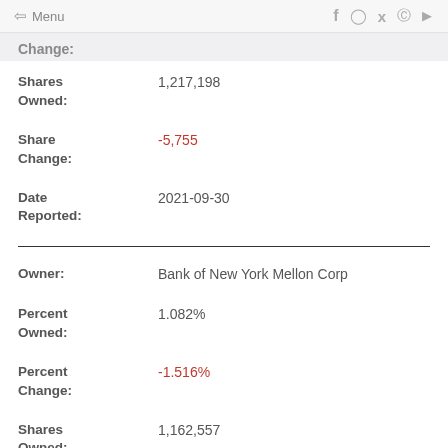Menu | f instagram twitter pinterest youtube
Change:
Shares Owned: 1,217,198
Share Change: -5,755
Date Reported: 2021-09-30
Owner: Bank of New York Mellon Corp
Percent Owned: 1.082%
Percent Change: -1.516%
Shares Owned: 1,162,557
Share: -17,893